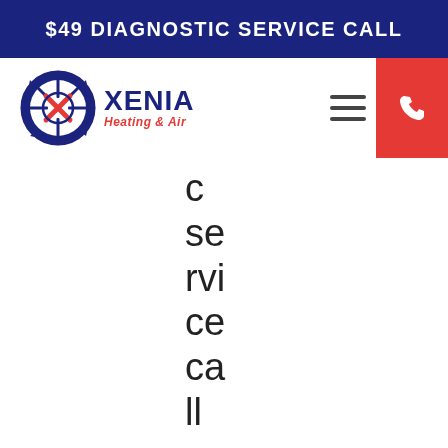$49 DIAGNOSTIC SERVICE CALL
[Figure (logo): Xenia Heating & Air logo with snowflake and X emblem]
c se rvi ce ca ll on an air co nd iti